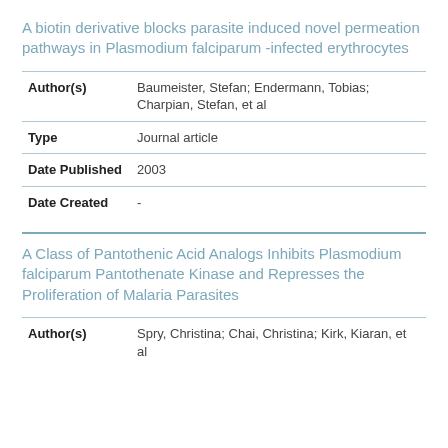A biotin derivative blocks parasite induced novel permeation pathways in Plasmodium falciparum -infected erythrocytes
| Field | Value |
| --- | --- |
| Author(s) | Baumeister, Stefan; Endermann, Tobias; Charpian, Stefan, et al |
| Type | Journal article |
| Date Published | 2003 |
| Date Created | - |
A Class of Pantothenic Acid Analogs Inhibits Plasmodium falciparum Pantothenate Kinase and Represses the Proliferation of Malaria Parasites
| Field | Value |
| --- | --- |
| Author(s) | Spry, Christina; Chai, Christina; Kirk, Kiaran, et al |